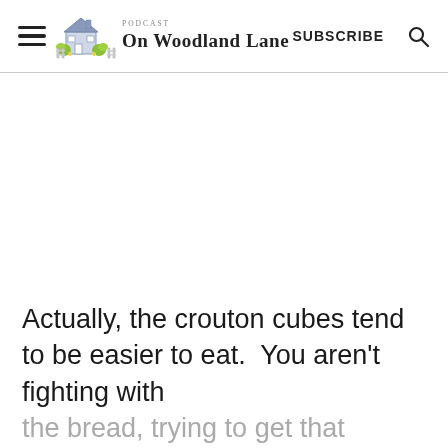On Woodland Lane — SUBSCRIBE
Actually, the crouton cubes tend to be easier to eat.  You aren't fighting with the bread, trying to get that perfect amount of bread and cheese and